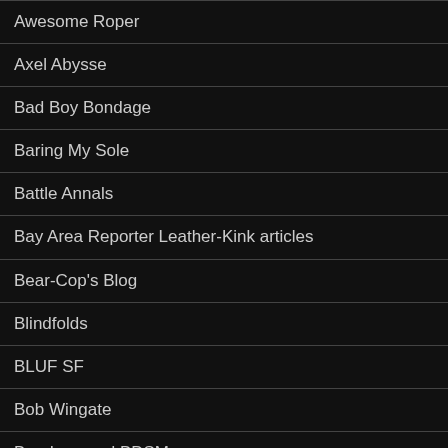Awesome Roper
Axel Abysse
Bad Boy Bondage
Baring My Sole
Battle Annals
Bay Area Reporter Leather-Kink articles
Bear-Cop's Blog
Blindfolds
BLUF SF
Bob Wingate
Bondage and BDSM gear
Bondage Bros (newly added link)